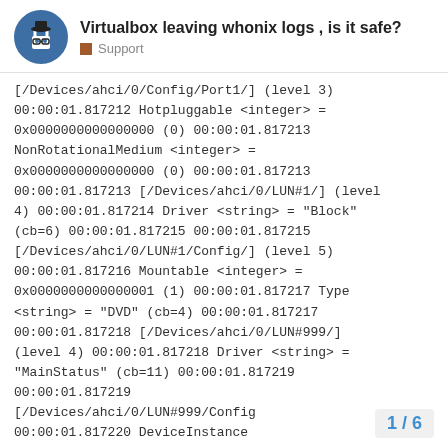Virtualbox leaving whonix logs , is it safe? Support
[/Devices/ahci/0/Config/Port1/] (level 3) 00:00:01.817212 Hotpluggable <integer> = 0x0000000000000000 (0) 00:00:01.817213 NonRotationalMedium <integer> = 0x0000000000000000 (0) 00:00:01.817213 00:00:01.817213 [/Devices/ahci/0/LUN#1/] (level 4) 00:00:01.817214 Driver <string> = "Block" (cb=6) 00:00:01.817215 00:00:01.817215 [/Devices/ahci/0/LUN#1/Config/] (level 5) 00:00:01.817216 Mountable <integer> = 0x0000000000000001 (1) 00:00:01.817217 Type <string> = "DVD" (cb=4) 00:00:01.817217 00:00:01.817218 [/Devices/ahci/0/LUN#999/] (level 4) 00:00:01.817218 Driver <string> = "MainStatus" (cb=11) 00:00:01.817219 00:00:01.817219 [/Devices/ahci/0/LUN#999/Config (level ...) 00:00:01.817220 DeviceInstance
1 / 6